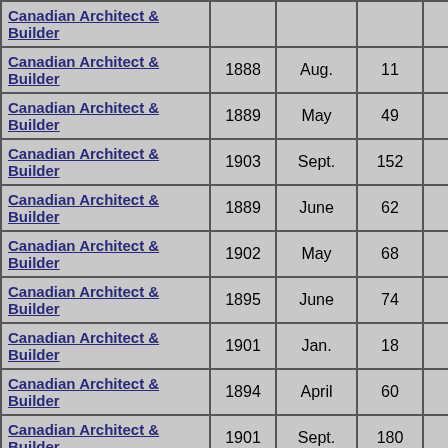| Publication | Year | Month | Page | Vol |  |
| --- | --- | --- | --- | --- | --- |
| Canadian Architect & Builder |  |  |  |  |  |
| Canadian Architect & Builder | 1888 | Aug. | 11 | 1 |  |
| Canadian Architect & Builder | 1889 | May | 49 | 2 |  |
| Canadian Architect & Builder | 1903 | Sept. | 152 | 16 |  |
| Canadian Architect & Builder | 1889 | June | 62 | 2 |  |
| Canadian Architect & Builder | 1902 | May | 68 | 15 |  |
| Canadian Architect & Builder | 1895 | June | 74 | 8 |  |
| Canadian Architect & Builder | 1901 | Jan. | 18 | 14 |  |
| Canadian Architect & Builder | 1894 | April | 60 | 7 |  |
| Canadian Architect & Builder | 1901 | Sept. | 180 | 14 |  |